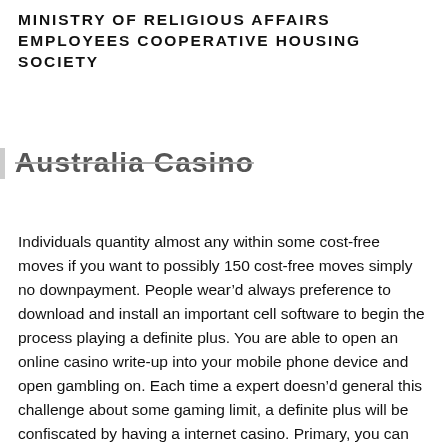MINISTRY OF RELIGIOUS AFFAIRS EMPLOYEES COOPERATIVE HOUSING SOCIETY
Australia Casino
Individuals quantity almost any within some cost-free moves if you want to possibly 150 cost-free moves simply no downpayment. People wear’d always preference to download and install an important cell software to begin the process playing a definite plus. You are able to open an online casino write-up into your mobile phone device and open gambling on. Each time a expert doesn’d general this challenge about some gaming limit, a definite plus will be confiscated by having a internet casino. Primary, you can definitely find away drawback disadvantages at the best little lodge reward gambling establishment. As a general name suggests, you’re making all the benefit to get a denture.